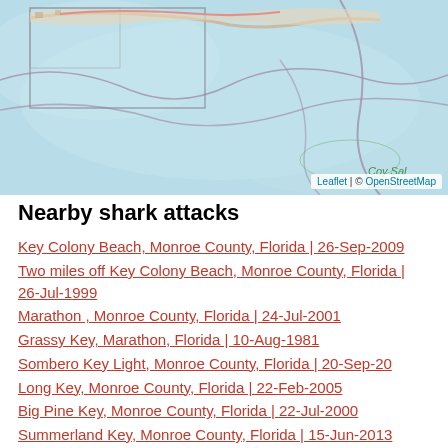[Figure (map): OpenStreetMap tile showing coastal area near Florida Keys, light blue water with purple/grey contour lines, small land area visible in upper portion with green outline shapes, 'Coy Sal Land And' label visible in lower right of map area]
Nearby shark attacks
Key Colony Beach, Monroe County, Florida | 26-Sep-2009
Two miles off Key Colony Beach, Monroe County, Florida | 26-Jul-1999
Marathon , Monroe County, Florida | 24-Jul-2001
Grassy Key, Marathon, Florida | 10-Aug-1981
Sombero Key Light, Monroe County, Florida | 20-Sep-20
Long Key, Monroe County, Florida | 22-Feb-2005
Big Pine Key, Monroe County, Florida | 22-Jul-2000
Summerland Key, Monroe County, Florida | 15-Jun-2013